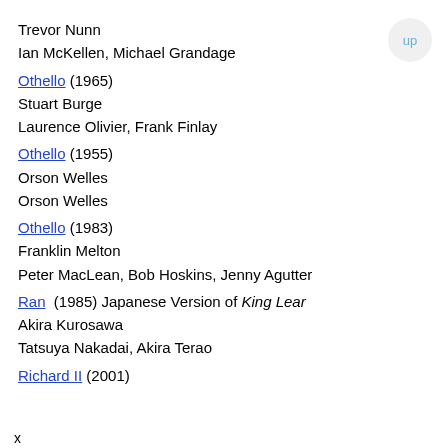Trevor Nunn
Ian McKellen, Michael Grandage
Othello (1965)
Stuart Burge
Laurence Olivier, Frank Finlay
Othello (1955)
Orson Welles
Orson Welles
Othello (1983)
Franklin Melton
Peter MacLean, Bob Hoskins, Jenny Agutter
Ran (1985) Japanese Version of King Lear
Akira Kurosawa
Tatsuya Nakadai, Akira Terao
Richard II (2001)